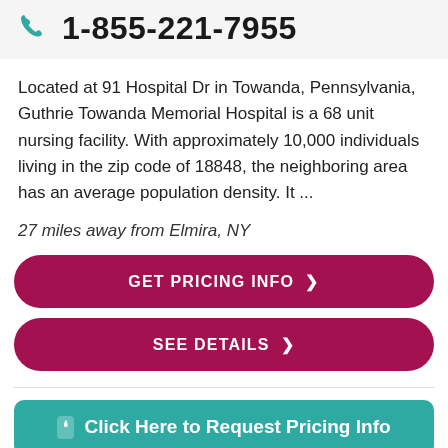1-855-221-7955
Located at 91 Hospital Dr in Towanda, Pennsylvania, Guthrie Towanda Memorial Hospital is a 68 unit nursing facility. With approximately 10,000 individuals living in the zip code of 18848, the neighboring area has an average population density. It ...
27 miles away from Elmira, NY
GET PRICING INFO >
SEE DETAILS >
Click Here to Request Pricing Info